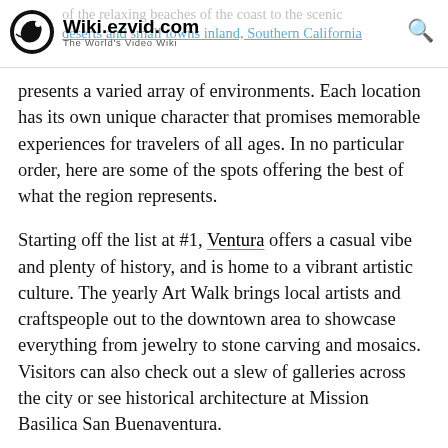Wiki.ezvid.com — The World's Video Wiki
…of the relaxing beaches of the coast to the scenic deserts and small towns inland, Southern California presents a varied array of environments. Each location has its own unique character that promises memorable experiences for travelers of all ages. In no particular order, here are some of the spots offering the best of what the region represents.
Starting off the list at #1, Ventura offers a casual vibe and plenty of history, and is home to a vibrant artistic culture. The yearly Art Walk brings local artists and craftspeople out to the downtown area to showcase everything from jewelry to stone carving and mosaics. Visitors can also check out a slew of galleries across the city or see historical architecture at Mission Basilica San Buenaventura.